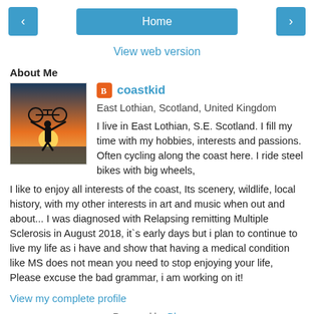< Home >
View web version
About Me
[Figure (photo): Silhouette of a person holding a bicycle above their head at sunset on a beach or coastline]
coastkid
East Lothian, Scotland, United Kingdom
I live in East Lothian, S.E. Scotland. I fill my time with my hobbies, interests and passions. Often cycling along the coast here. I ride steel bikes with big wheels, I like to enjoy all interests of the coast, Its scenery, wildlife, local history, with my other interests in art and music when out and about... I was diagnosed with Relapsing remitting Multiple Sclerosis in August 2018, it`s early days but i plan to continue to live my life as i have and show that having a medical condition like MS does not mean you need to stop enjoying your life, Please excuse the bad grammar, i am working on it!
View my complete profile
Powered by Blogger